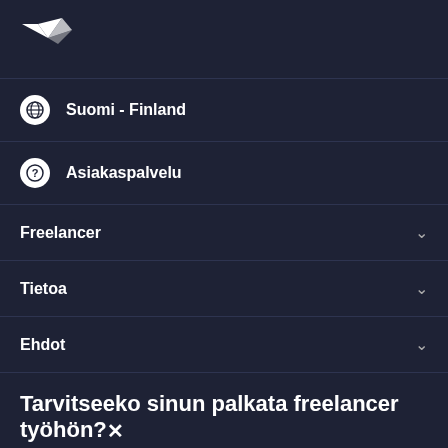[Figure (logo): Freelancer.com bird logo in white on dark background]
Suomi - Finland
Asiakaspalvelu
Freelancer
Tietoa
Ehdot
Tarvitseeko sinun palkata freelancer työhön?
Ilmoita projekti